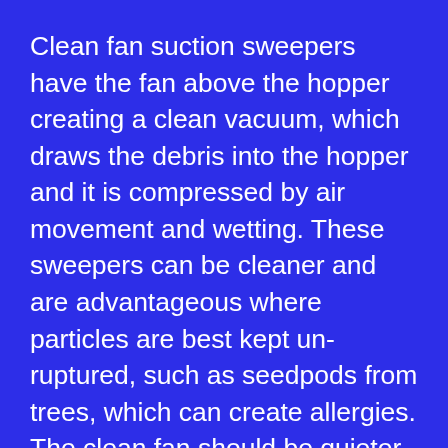Clean fan suction sweepers have the fan above the hopper creating a clean vacuum, which draws the debris into the hopper and it is compressed by air movement and wetting. These sweepers can be cleaner and are advantageous where particles are best kept un-ruptured, such as seedpods from trees, which can create allergies. The clean fan should be quieter in operation as it is a larger diameter hence needs to spin less to create the same vacuum and does not have the mulching noise.
The third type of vacuum or suction sweeper is commonly referred to as